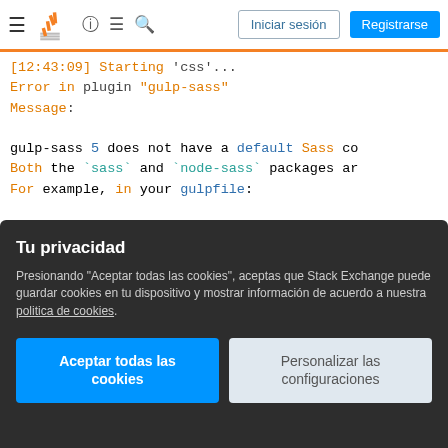Stack Overflow navigation bar with menu, logo, help, chat, search, Iniciar sesión, Registrarse
[Figure (screenshot): Code block showing gulp-sass error messages in a monospace terminal/code area on Stack Overflow]
Tu privacidad
Presionando "Aceptar todas las cookies", aceptas que Stack Exchange puede guardar cookies en tu dispositivo y mostrar información de acuerdo a nuestra politica de cookies.
Aceptar todas las cookies
Personalizar las configuraciones